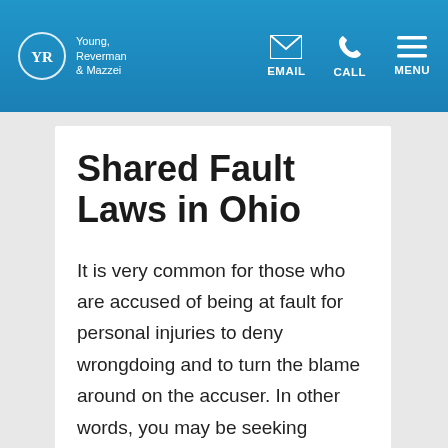Young, Reverman & Mazzei | EMAIL | CALL | MENU
Shared Fault Laws in Ohio
It is very common for those who are accused of being at fault for personal injuries to deny wrongdoing and to turn the blame around on the accuser. In other words, you may be seeking compensation for your injuries, but the entity that you're holding responsible may say that you caused the injuries yourself. If they can't put all of the blame on you, then they may